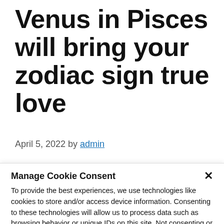Venus in Pisces will bring your zodiac sign true love
April 5, 2022 by admin
Manage Cookie Consent
To provide the best experiences, we use technologies like cookies to store and/or access device information. Consenting to these technologies will allow us to process data such as browsing behavior or unique IDs on this site. Not consenting or withdrawing consent, may adversely affect certain features and functions.
Accept